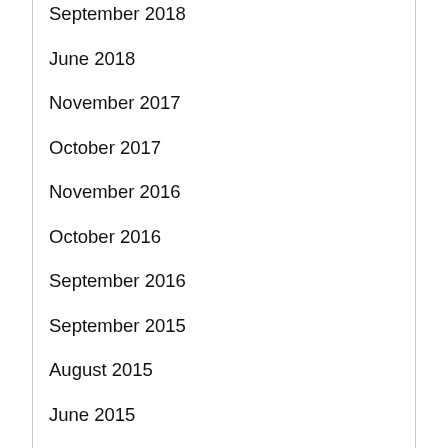September 2018
June 2018
November 2017
October 2017
November 2016
October 2016
September 2016
September 2015
August 2015
June 2015
February 2015
January 2015
August 2014